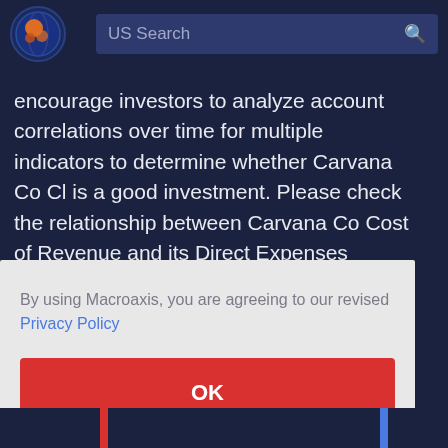US Search
encourage investors to analyze account correlations over time for multiple indicators to determine whether Carvana Co Cl is a good investment. Please check the relationship between Carvana Co Cost of Revenue and its Direct Expenses accounts. Continue to Trending Equities.
By using Macroaxis, you are agreeing to our revised Privacy Policy
OK